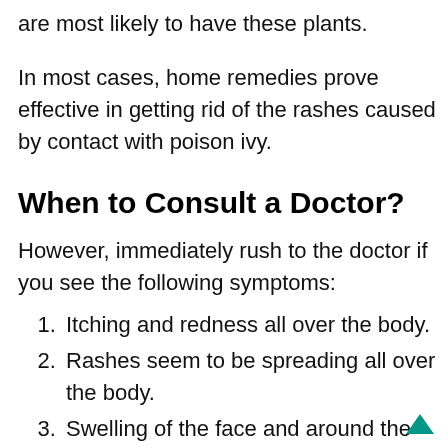are most likely to have these plants.
In most cases, home remedies prove effective in getting rid of the rashes caused by contact with poison ivy.
When to Consult a Doctor?
However, immediately rush to the doctor if you see the following symptoms:
Itching and redness all over the body.
Rashes seem to be spreading all over the body.
Swelling of the face and around the eyes.